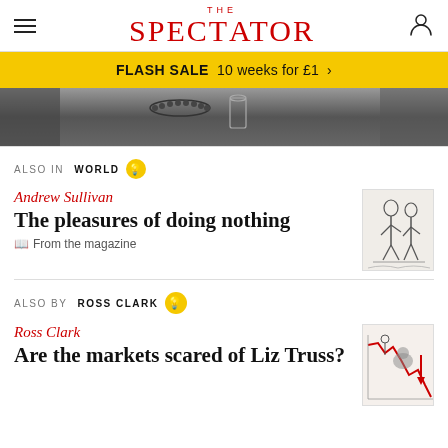THE SPECTATOR
FLASH SALE  10 weeks for £1  >
[Figure (photo): Black and white photo of a person with beaded necklace holding a glass, partial view]
ALSO IN  WORLD
Andrew Sullivan
The pleasures of doing nothing
From the magazine
ALSO BY  ROSS CLARK
Ross Clark
Are the markets scared of Liz Truss?